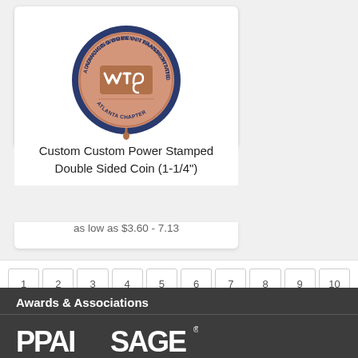[Figure (photo): WTS (Advancing Women in Transportation) Atlanta Chapter commemorative coin, circular, rose gold colored with dark blue border]
Custom Custom Power Stamped Double Sided Coin (1-1/4")
as low as $3.60 - 7.13
1 2 3 4 5 6 7 8 9 10 11 12 13 14 15 16 17 18 19 20 21
Awards & Associations
[Figure (logo): PPAI and SAGE logos in white on dark grey background]